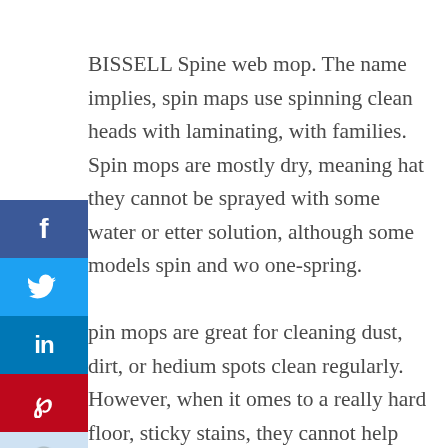BISSELL Spine web mop. The name implies, spin maps use spinning clean heads with laminating, with families. Spin mops are mostly dry, meaning hat they cannot be sprayed with some water or etter solution, although some models spin and wo one-spring.

pin mops are great for cleaning dust, dirt, or hedium spots clean regularly. However, when it omes to a really hard floor, sticky stains, they cannot help you to get rid of them mostly.
[Figure (infographic): Social media share buttons sidebar: Facebook (blue), Twitter (light blue), LinkedIn (dark blue), Pinterest (red), Reddit (light blue with alien icon), Mix (white with orange M icon), and a collapsed arrow button.]